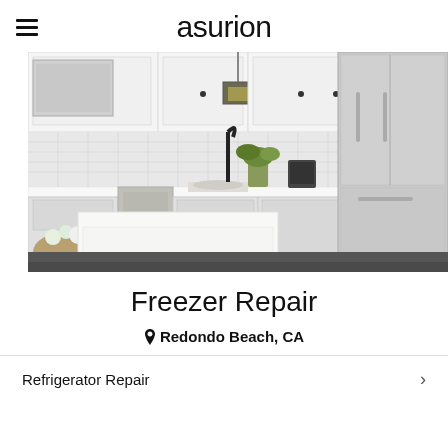asurion
[Figure (photo): Modern kitchen with white cabinets, black hardware, stainless steel French door refrigerator, black faucet, white quartz countertops, and a bouquet of flowers on the kitchen island.]
Freezer Repair
Redondo Beach, CA
Refrigerator Repair